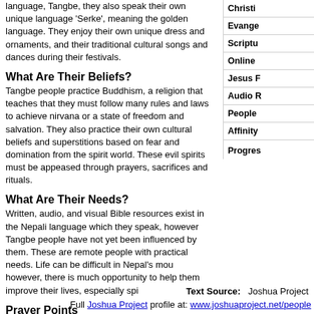language, Tangbe, they also speak their own unique language 'Serke', meaning the golden language. They enjoy their own unique dress and ornaments, and their traditional cultural songs and dances during their festivals.
What Are Their Beliefs?
Tangbe people practice Buddhism, a religion that teaches that they must follow many rules and laws to achieve nirvana or a state of freedom and salvation. They also practice their own cultural beliefs and superstitions based on fear and domination from the spirit world. These evil spirits must be appeased through prayers, sacrifices and rituals.
What Are Their Needs?
Written, audio, and visual Bible resources exist in the Nepali language which they speak, however Tangbe people have not yet been influenced by them. These are remote people with practical needs. Life can be difficult in Nepal's mou however, there is much opportunity to help them improve their lives, especially spi
Prayer Points
Pray for disciples who are filled with the power and fruit of the Holy Spirit to go to T community council will be open to hearing about Christ and allowing their lives and there will be a community-wide movement to Lord Jesus as families embrace Jesu
| Category |
| --- |
| Christi |
| Evange |
| Scriptu |
| Online |
| Jesus F |
| Audio R |
| People |
| Affinity |
| Progres |
Text Source:   Joshua Project
Full Joshua Project profile at: www.joshuaproject.net/people